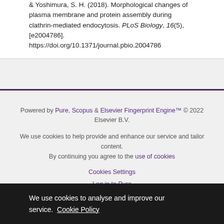& Yoshimura, S. H. (2018). Morphological changes of plasma membrane and protein assembly during clathrin-mediated endocytosis. PLoS Biology, 16(5), [e2004786]. https://doi.org/10.1371/journal.pbio.2004786
Powered by Pure, Scopus & Elsevier Fingerprint Engine™ © 2022 Elsevier B.V.
We use cookies to help provide and enhance our service and tailor content. By continuing you agree to the use of cookies
Cookies Settings
Log in to Pure
We use cookies to analyse and improve our service. Cookie Policy